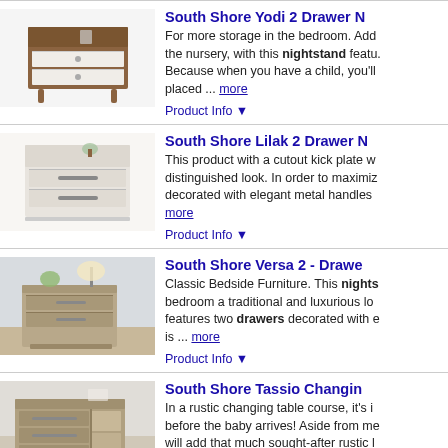[Figure (photo): South Shore Yodi 2 Drawer nightstand product photo - brown walnut finish with white drawers and legs]
South Shore Yodi 2 Drawer N...
For more storage in the bedroom. Add the nursery, with this nightstand featu. Because when you have a child, you'll placed ... more
Product Info ▼
[Figure (photo): South Shore Lilak 2 Drawer nightstand product photo - white finish with metal handles]
South Shore Lilak 2 Drawer N...
This product with a cutout kick plate w distinguished look. In order to maximiz decorated with elegant metal handles ... more
Product Info ▼
[Figure (photo): South Shore Versa 2-Drawer nightstand product photo - grey/taupe finish with lamp on top]
South Shore Versa 2 - Drawe...
Classic Bedside Furniture. This nights bedroom a traditional and luxurious lo features two drawers decorated with e is ... more
Product Info ▼
[Figure (photo): South Shore Tassio Changing table product photo - rustic grey with drawers and open shelf]
South Shore Tassio Changing...
In a rustic changing table course, it's i before the baby arrives! Aside from me will add that much sought-after rustic l
Product Info ▼